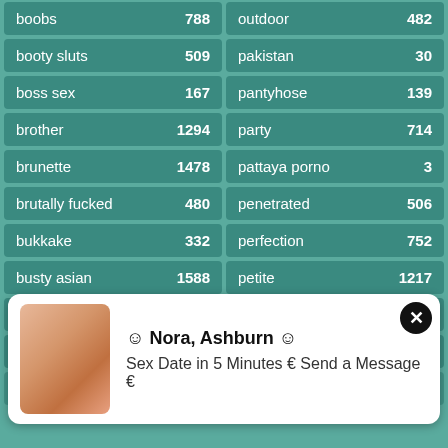boobs 788
outdoor 482
booty sluts 509
pakistan 30
boss sex 167
pantyhose 139
brother 1294
party 714
brunette 1478
pattaya porno 3
brutally fucked 480
penetrated 506
bukkake 332
perfection 752
busty asian 1588
petite 1217
cartoons 369
philippines 6
casting 345
pink 329
chicks 664
pretty 717
[Figure (photo): Advertisement overlay with photo of blonde woman, text: Nora, Ashburn - Sex Date in 5 Minutes, Send a Message]